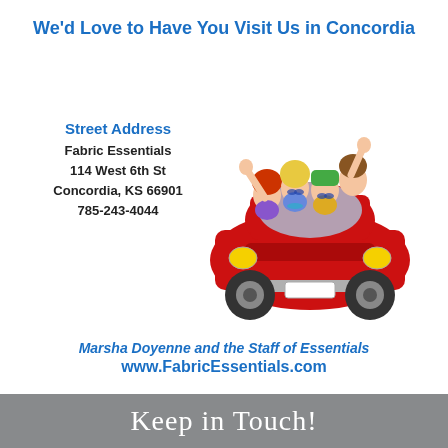We'd Love to Have You Visit Us in Concordia
Street Address
Fabric Essentials
114 West 6th St
Concordia, KS 66901
785-243-4044
[Figure (illustration): Cartoon illustration of cheerful women riding in a red VW Beetle car, waving.]
Marsha Doyenne and the Staff of Essentials
www.FabricEssentials.com
Keep in Touch!